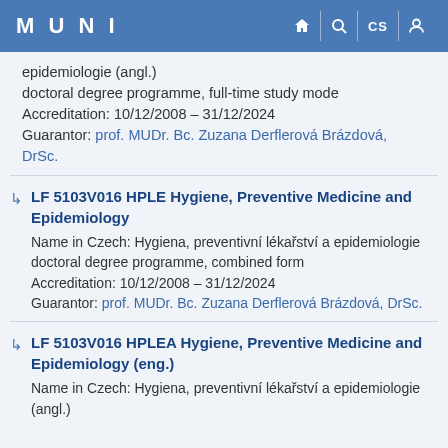MUNI
epidemiologie (angl.)
doctoral degree programme, full-time study mode
Accreditation: 10/12/2008 – 31/12/2024
Guarantor: prof. MUDr. Bc. Zuzana Derflerová Brázdová, DrSc.
LF 5103V016 HPLE Hygiene, Preventive Medicine and Epidemiology
Name in Czech: Hygiena, preventivní lékařství a epidemiologie
doctoral degree programme, combined form
Accreditation: 10/12/2008 – 31/12/2024
Guarantor: prof. MUDr. Bc. Zuzana Derflerová Brázdová, DrSc.
LF 5103V016 HPLEA Hygiene, Preventive Medicine and Epidemiology (eng.)
Name in Czech: Hygiena, preventivní lékařství a epidemiologie (angl.)